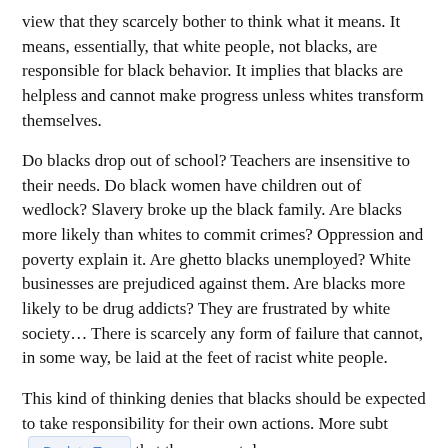view that they scarcely bother to think what it means. It means, essentially, that white people, not blacks, are responsible for black behavior. It implies that blacks are helpless and cannot make progress unless whites transform themselves.
Do blacks drop out of school? Teachers are insensitive to their needs. Do black women have children out of wedlock? Slavery broke up the black family. Are blacks more likely than whites to commit crimes? Oppression and poverty explain it. Are ghetto blacks unemployed? White businesses are prejudiced against them. Are blacks more likely to be drug addicts? They are frustrated by white society… There is scarcely any form of failure that cannot, in some way, be laid at the feet of racist white people.
This kind of thinking denies that blacks should be expected to take responsibility for their own actions. More subt [Back to Top] that they cannot do so.
Taylor marshals an army of facts to explode the myth that whites are blameless for black behavior. In fact,